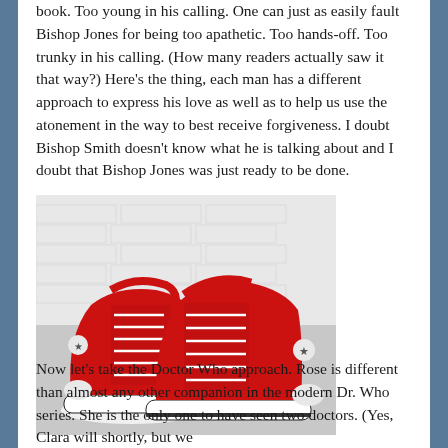book. Too young in his calling. One can just as easily fault Bishop Jones for being too apathetic. Too hands-off. Too trunky in his calling. (How many readers actually saw it that way?) Here's the thing, each man has a different approach to express his love as well as to help us use the atonement in the way to best receive forgiveness. I doubt Bishop Smith doesn't know what he is talking about and I doubt that Bishop Jones was just ready to be done.
[Figure (photo): A pair of red Converse high-top sneakers with white laces and soles, photographed against a white brick wall background.]
Now let's take the Doctor Who approach. Rose is different than almost any other companion in the modern Dr. Who series. She is the only one to have seen two doctors. (Yes, Clara will shortly, but we